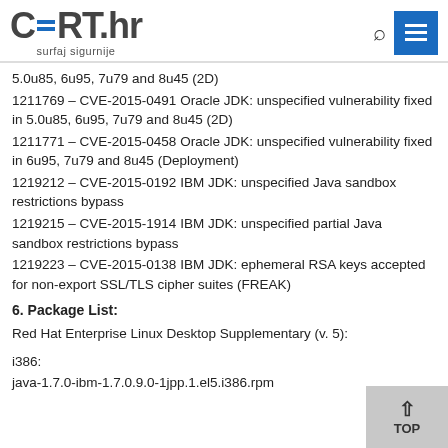CERT.hr surfaj sigurnije
5.0u85, 6u95, 7u79 and 8u45 (2D)
1211769 – CVE-2015-0491 Oracle JDK: unspecified vulnerability fixed in 5.0u85, 6u95, 7u79 and 8u45 (2D)
1211771 – CVE-2015-0458 Oracle JDK: unspecified vulnerability fixed in 6u95, 7u79 and 8u45 (Deployment)
1219212 – CVE-2015-0192 IBM JDK: unspecified Java sandbox restrictions bypass
1219215 – CVE-2015-1914 IBM JDK: unspecified partial Java sandbox restrictions bypass
1219223 – CVE-2015-0138 IBM JDK: ephemeral RSA keys accepted for non-export SSL/TLS cipher suites (FREAK)
6. Package List:
Red Hat Enterprise Linux Desktop Supplementary (v. 5):
i386:
java-1.7.0-ibm-1.7.0.9.0-1jpp.1.el5.i386.rpm